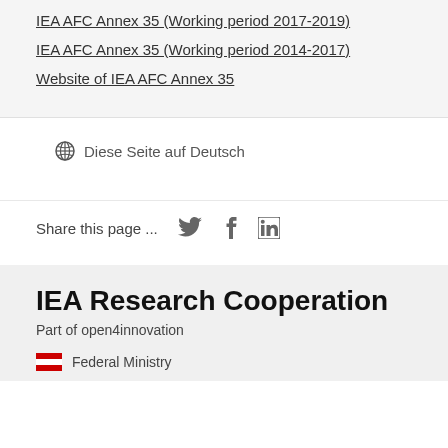IEA AFC Annex 35 (Working period 2017-2019)
IEA AFC Annex 35 (Working period 2014-2017)
Website of IEA AFC Annex 35
Diese Seite auf Deutsch
Share this page ...
IEA Research Cooperation
Part of open4innovation
Federal Ministry